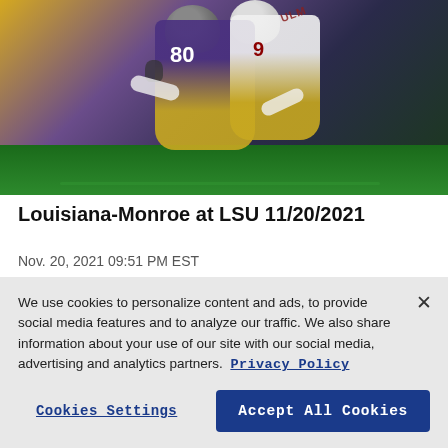[Figure (photo): Football game action photo showing two players, one in purple/gold LSU jersey #80 and one in white ULM jersey #9, engaged in a tackle during a night game]
Louisiana-Monroe at LSU 11/20/2021
Nov. 20, 2021 09:51 PM EST
We use cookies to personalize content and ads, to provide social media features and to analyze our traffic. We also share information about your use of our site with our social media, advertising and analytics partners.  Privacy Policy
Cookies Settings
Accept All Cookies